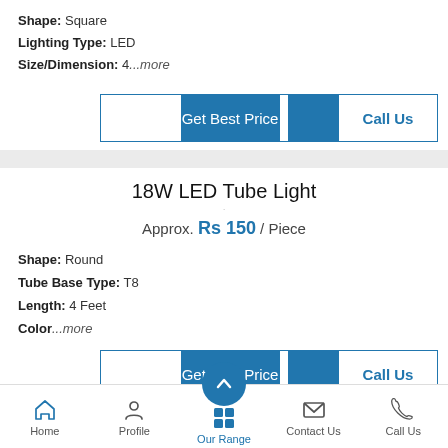Shape: Square
Lighting Type: LED
Size/Dimension: 4...more
Get Best Price | Call Us
18W LED Tube Light
Approx. Rs 150 / Piece
Shape: Round
Tube Base Type: T8
Length: 4 Feet
Color...more
Get Best Price | Call Us
Home | Profile | Our Range | Contact Us | Call Us